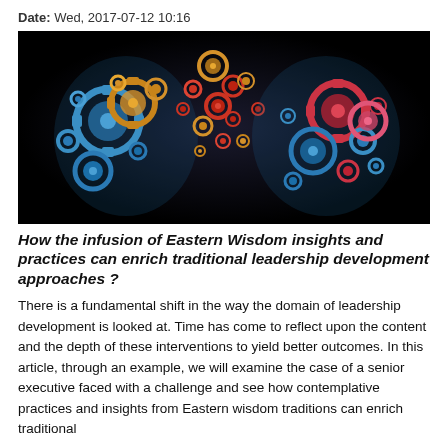Date: Wed, 2017-07-12 10:16
[Figure (photo): Two stylized human head profiles facing each other, filled with blue mechanical gears. Between them, colorful gears (orange, gold, red) float in a cloud on a black background, symbolizing exchange of ideas or knowledge.]
How the infusion of Eastern Wisdom insights and practices can enrich traditional leadership development approaches ?
There is a fundamental shift in the way the domain of leadership development is looked at. Time has come to reflect upon the content and the depth of these interventions to yield better outcomes. In this article, through an example, we will examine the case of a senior executive faced with a challenge and see how contemplative practices and insights from Eastern wisdom traditions can enrich traditional